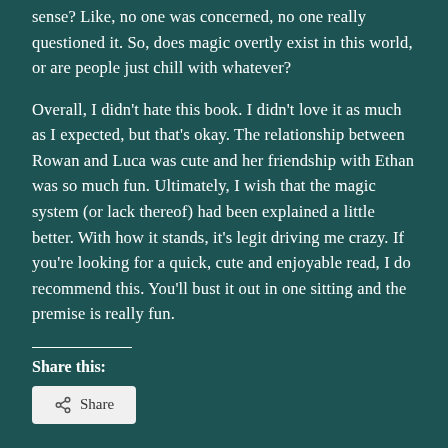sense? Like, no one was concerned, no one really questioned it. So, does magic overtly exist in this world, or are people just chill with whatever?
Overall, I didn't hate this book. I didn't love it as much as I expected, but that's okay. The relationship between Rowan and Luca was cute and her friendship with Ethan was so much fun. Ultimately, I wish that the magic system (or lack thereof) had been explained a little better. With how it stands, it's legit driving me crazy. If you're looking for a quick, cute and enjoyable read, I do recommend this. You'll bust it out in one sitting and the premise is really fun.
Share this: